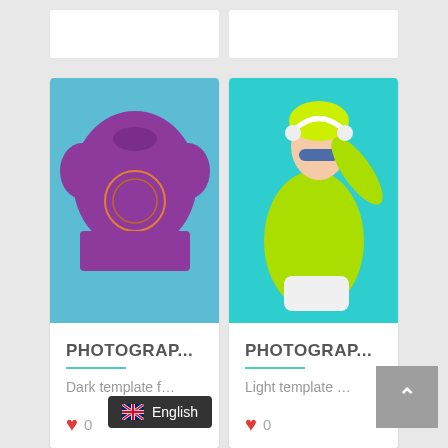[Figure (screenshot): Top partial card stubs visible at top of page]
[Figure (photo): Purple t-shirt with graphic design on light blue background]
PHOTOGRAP...
Dark template f...
♥ 0
[Figure (photo): Woman in neon green outfit and hat with headphones on turquoise background]
PHOTOGRAP...
Light template ...
♥ 0
🇬🇧 English